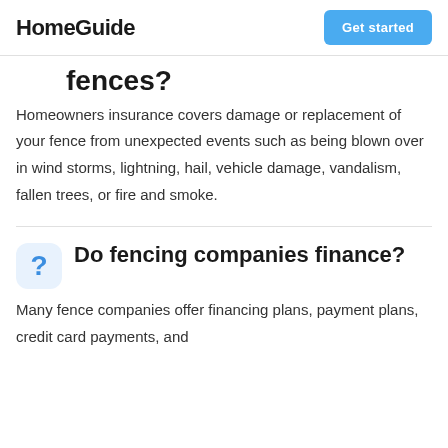HomeGuide | Get started
fences?
Homeowners insurance covers damage or replacement of your fence from unexpected events such as being blown over in wind storms, lightning, hail, vehicle damage, vandalism, fallen trees, or fire and smoke.
Do fencing companies finance?
Many fence companies offer financing plans, payment plans, credit card payments, and